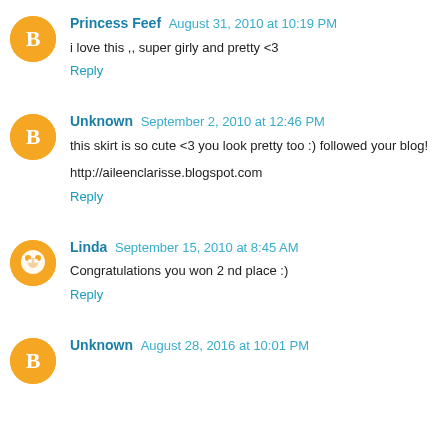Princess Feef  August 31, 2010 at 10:19 PM
i love this ,, super girly and pretty <3
Reply
Unknown  September 2, 2010 at 12:46 PM
this skirt is so cute <3 you look pretty too :) followed your blog!
http://aileenclarisse.blogspot.com
Reply
Linda  September 15, 2010 at 8:45 AM
Congratulations you won 2 nd place :)
Reply
Unknown  August 28, 2016 at 10:01 PM